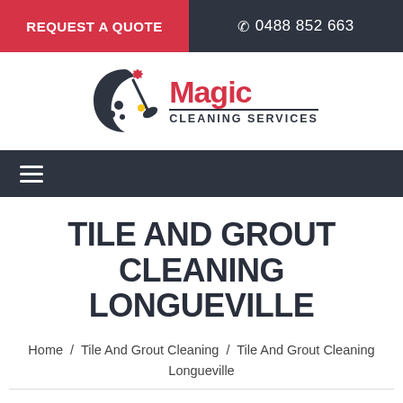REQUEST A QUOTE  |  0488 852 663
[Figure (logo): Magic Cleaning Services logo with crescent moon, sparkles, and broom graphic in red and dark colors]
Navigation hamburger menu icon
TILE AND GROUT CLEANING LONGUEVILLE
Home / Tile And Grout Cleaning / Tile And Grout Cleaning Longueville
Magic Tile and Grout Cleaning Longueville offer tile